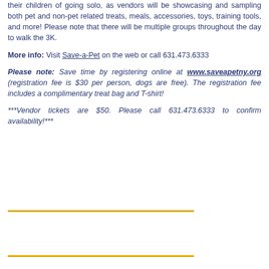their children of going solo, as vendors will be showcasing and sampling both pet and non-pet related treats, meals, accessories, toys, training tools, and more! Please note that there will be multiple groups throughout the day to walk the 3K.
More info: Visit Save-a-Pet on the web or call 631.473.6333
Please note: Save time by registering online at www.saveapetny.org (registration fee is $30 per person, dogs are free). The registration fee includes a complimentary treat bag and T-shirt!
***Vendor tickets are $50. Please call 631.473.6333 to confirm availability!***